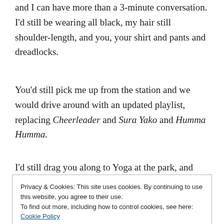and I can have more than a 3-minute conversation. I'd still be wearing all black, my hair still shoulder-length, and you, your shirt and pants and dreadlocks.
You'd still pick me up from the station and we would drive around with an updated playlist, replacing Cheerleader and Sura Yako and Humma Humma.
I'd still drag you along to Yoga at the park, and you'd still send me mirror selfies after working out at the gym in the middle of telling me all about work.
I'd read you my fiction and send you songs and write you
Privacy & Cookies: This site uses cookies. By continuing to use this website, you agree to their use.
To find out more, including how to control cookies, see here: Cookie Policy
Close and accept
make strangers uncomfortable by holding hands and